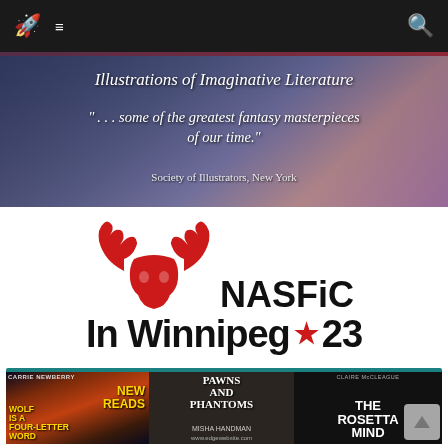Navigation bar with rocket icon, menu icon, and search icon
[Figure (illustration): Banner image with fantasy illustration background, text reading 'Illustrations of Imaginative Literature', quote '"...some of the greatest fantasy masterpieces of our time."', attribution 'Society of Illustrators, New York']
[Figure (logo): NASFiC In Winnipeg 23 logo with red moose/elk skull with antlers above the text 'NASFiC' and below 'In Winnipeg* 23' with a maple leaf before '23']
[Figure (illustration): Three book covers: 'Wolf is a Four-Letter Word' by Carrie Newberry with 'NEW READS' overlay, 'Pawns and Phantoms' by Misha Handman with www.edgewebsite.com, and 'The Rosetta Mind' by Claire McLeague (Book Two of the Rosetta Series)]